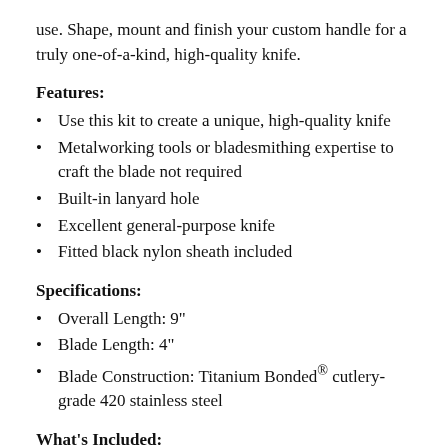use. Shape, mount and finish your custom handle for a truly one-of-a-kind, high-quality knife.
Features:
Use this kit to create a unique, high-quality knife
Metalworking tools or bladesmithing expertise to craft the blade not required
Built-in lanyard hole
Excellent general-purpose knife
Fitted black nylon sheath included
Specifications:
Overall Length: 9"
Blade Length: 4"
Blade Construction: Titanium Bonded® cutlery-grade 420 stainless steel
What's Included:
(1) Blade
(3) Screw-together rivets
(1) Fitted black nylon sheath